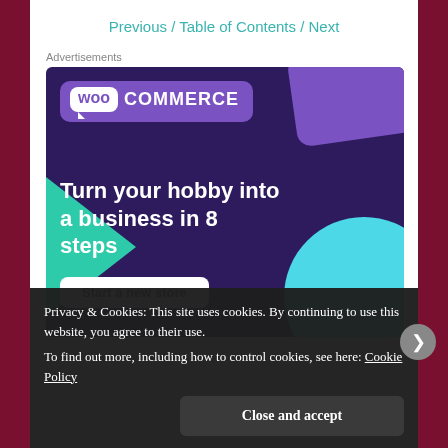Previous / Table of Contents / Next
Advertisements
[Figure (illustration): WooCommerce advertisement banner on dark purple background. Features WooCommerce logo top-left, teal triangle on left, cyan circle bottom-right, text 'Turn your hobby into a business in 8 steps', and a 'Start a new store' button.]
Privacy & Cookies: This site uses cookies. By continuing to use this website, you agree to their use.
To find out more, including how to control cookies, see here: Cookie Policy
Close and accept